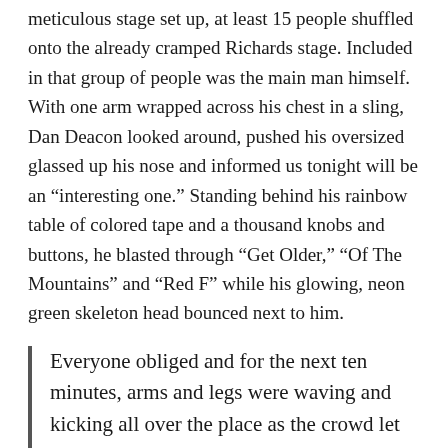meticulous stage set up, at least 15 people shuffled onto the already cramped Richards stage. Included in that group of people was the main man himself. With one arm wrapped across his chest in a sling, Dan Deacon looked around, pushed his oversized glassed up his nose and informed us tonight will be an “interesting one.” Standing behind his rainbow table of colored tape and a thousand knobs and buttons, he blasted through “Get Older,” “Of The Mountains” and “Red F” while his glowing, neon green skeleton head bounced next to him.
Everyone obliged and for the next ten minutes, arms and legs were waving and kicking all over the place as the crowd let everything loose.
The crowd was eager to join in on the party as Dan leapt off the stage and used his one-armed power to make the crowd form a circle and propositioned them to a huge dance off in the middle of the floor. Of course, everyone obliged and for the next ten minutes, arms and legs were waving and kicking all over the place as the crowd let everything loose. Instructions soon followed to find a partner, put your hands